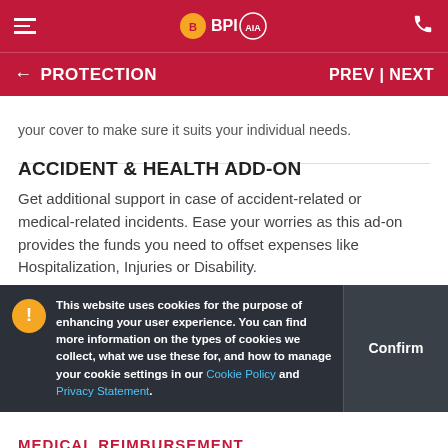BPI AIA — PROTECTION | PREV | NEXT
your cover to make sure it suits your individual needs.
ACCIDENT & HEALTH ADD-ON
Get additional support in case of accident-related or medical-related incidents. Ease your worries as this ad-on provides the funds you need to offset expenses like Hospitalization, Injuries or Disability.
This website uses cookies for the purpose of enhancing your user experience. You can find more information on the types of cookies we collect, what we use these for, and how to manage your cookie settings in our Cookie Policy and Privacy Statement.
MEDICAL REIMBURSEMENT